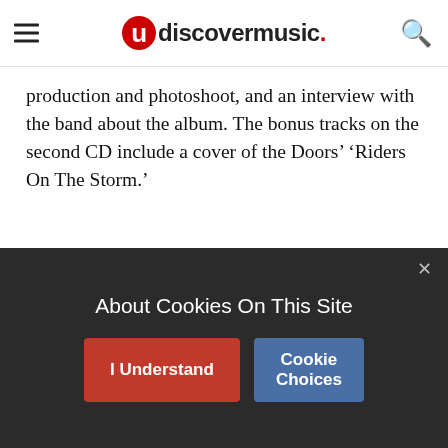udiscovermusic.
production and photoshoot, and an interview with the band about the album. The bonus tracks on the second CD include a cover of the Doors’ ‘Riders On The Storm.’
A huge UK tour behind the album will begin on March 27, continuing all the way through April and concluding on May 4.
Format: UK English
ADVERTISEMENT
[Figure (screenshot): Dark red advertisement banner with a close button (X)]
About Cookies On This Site
I Understand
Cookie Choices